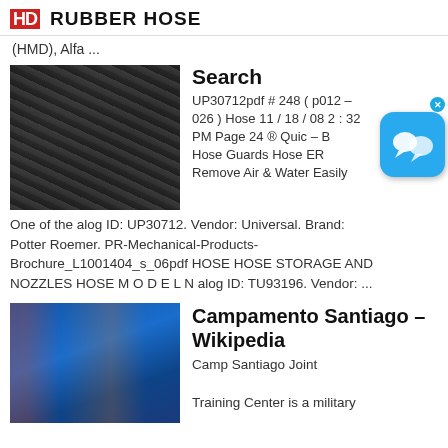HD RUBBER HOSE
(HMD), Alfa ...
[Figure (photo): Photo of black rubber hoses with metal fittings]
Search
UP30712pdf # 248 ( p012 – 026 ) Hose 11 / 18 / 08 2 : 32 PM Page 24 ® Quic – B Hose Guards Hose ER Remove Air & Water Easily
One of the alog ID: UP30712. Vendor: Universal. Brand: Potter Roemer. PR-Mechanical-Products-Brochure_L1001404_s_06pdf HOSE HOSE STORAGE AND NOZZLES HOSE M O D E L N alog ID: TU93196. Vendor: ...
[Figure (photo): Photo of industrial machine with blue steel structure and workers]
Campamento Santiago - Wikipedia
Camp Santiago Joint Training Center is a military